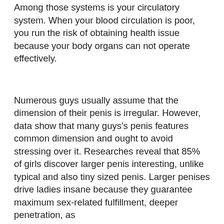Among those systems is your circulatory system. When your blood circulation is poor, you run the risk of obtaining health issue because your body organs can not operate effectively.
Numerous guys usually assume that the dimension of their penis is irregular. However, data show that many guys's penis features common dimension and ought to avoid stressing over it. Researches reveal that 85% of girls discover larger penis interesting, unlike typical and also tiny sized penis. Larger penises drive ladies insane because they guarantee maximum sex-related fulfillment, deeper penetration, as